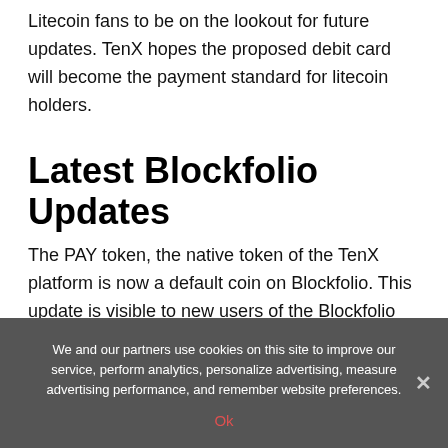Litecoin fans to be on the lookout for future updates. TenX hopes the proposed debit card will become the payment standard for litecoin holders.
Latest Blockfolio Updates
The PAY token, the native token of the TenX platform is now a default coin on Blockfolio. This update is visible to new users of the Blockfolio app. Blockfolio is an integrated cryptocurrency asset management platform. It allows for easy tracking and monitoring of a user's cryptocurrency investments. Users of the app can easily check price movements and other important market data from their computers and smartphones.
We and our partners use cookies on this site to improve our service, perform analytics, personalize advertising, measure advertising performance, and remember website preferences.
Ok